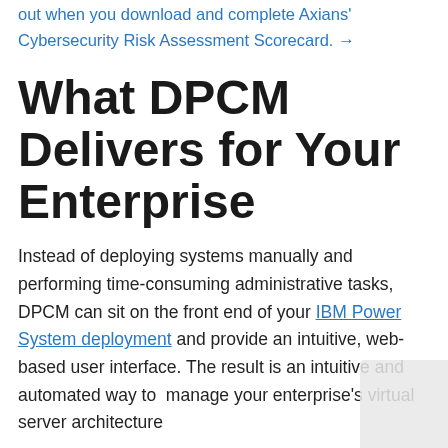out when you download and complete Axians' Cybersecurity Risk Assessment Scorecard. →
What DPCM Delivers for Your Enterprise
Instead of deploying systems manually and performing time-consuming administrative tasks, DPCM can sit on the front end of your IBM Power System deployment and provide an intuitive, web-based user interface. The result is an intuitive and automated way to manage your enterprise's virtual server architecture